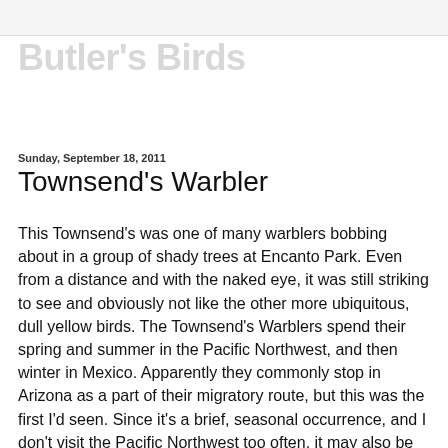Butler's Birds
Sunday, September 18, 2011
Townsend's Warbler
This Townsend's was one of many warblers bobbing about in a group of shady trees at Encanto Park. Even from a distance and with the naked eye, it was still striking to see and obviously not like the other more ubiquitous, dull yellow birds. The Townsend's Warblers spend their spring and summer in the Pacific Northwest, and then winter in Mexico. Apparently they commonly stop in Arizona as a part of their migratory route, but this was the first I'd seen. Since it's a brief, seasonal occurrence, and I don't visit the Pacific Northwest too often, it may also be one of only a few opportunities to ever see the Townsend's. These warblers have their fall plumage in full, so they lack the black chin and